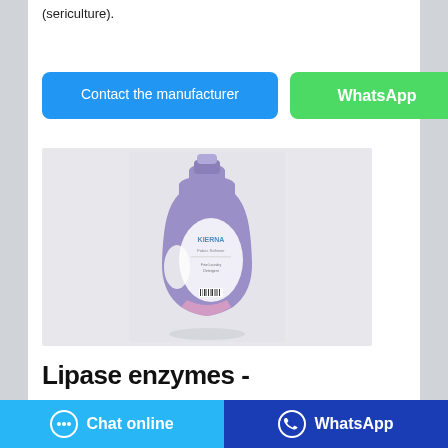(sericulture).
Contact the manufacturer | WhatsApp
[Figure (photo): Purple laundry detergent bottle with handle and label, photographed against a light grey background with a subtle reflection.]
Lipase enzymes -
Chat online | WhatsApp